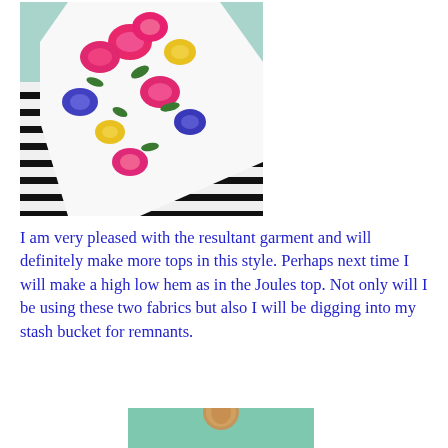[Figure (photo): Close-up photo of a garment: floral fabric (pink, yellow, blue flowers on white) layered over a black-and-white horizontal striped fabric, against a light teal background.]
I am very pleased with the resultant garment and will definitely make more tops in this style. Perhaps next time I will make a high low hem as in the Joules top. Not only will I be using these two fabrics but also I will be digging into my stash bucket for remnants.
[Figure (photo): Partial photo showing a wooden dressmaker's mannequin head/stand on a mint green background, partially cropped at the bottom of the page.]